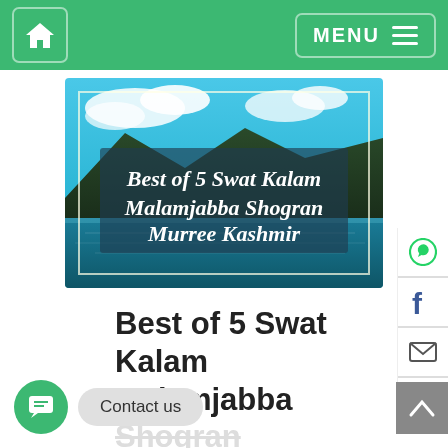Home | MENU
[Figure (photo): Scenic mountain lake photo with script text overlay reading: Best of 5 Swat Kalam Malamjabba Shogran Murree Kashmir]
Best of 5 Swat Kalam Malamjabba Shogran Kashmir
Contact us